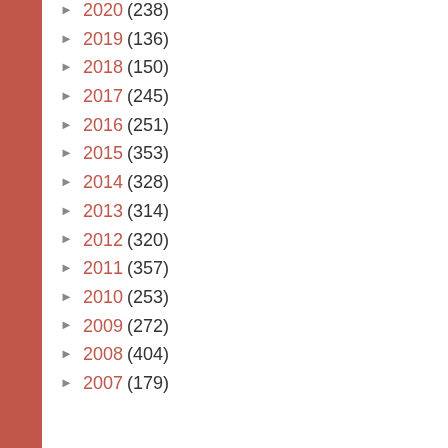► 2020 (238)
► 2019 (136)
► 2018 (150)
► 2017 (245)
► 2016 (251)
► 2015 (353)
► 2014 (328)
► 2013 (314)
► 2012 (320)
► 2011 (357)
► 2010 (253)
► 2009 (272)
► 2008 (404)
► 2007 (179)